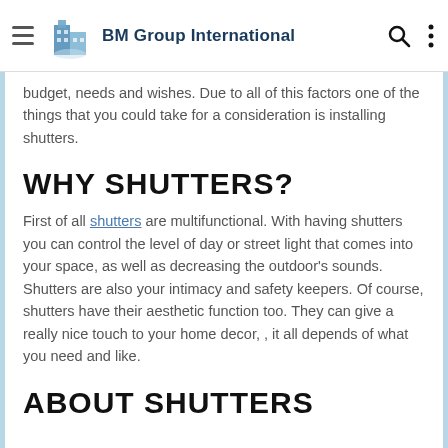BM Group International
budget, needs and wishes. Due to all of this factors one of the things that you could take for a consideration is installing shutters.
WHY SHUTTERS?
First of all shutters are multifunctional. With having shutters you can control the level of day or street light that comes into your space, as well as decreasing the outdoor's sounds. Shutters are also your intimacy and safety keepers. Of course, shutters have their aesthetic function too. They can give a really nice touch to your home decor, , it all depends of what you need and like.
ABOUT SHUTTERS